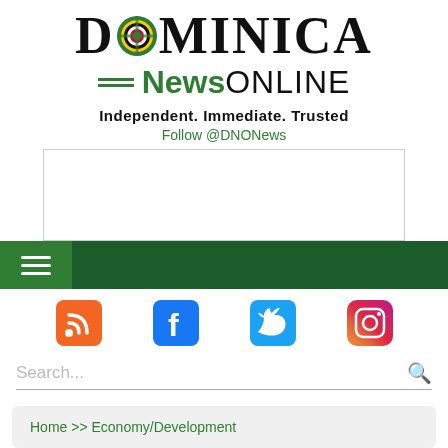[Figure (logo): Dominica News Online logo with flag emblem in letter O, green News text, black ONLINE text, and horizontal green lines]
Independent. Immediate. Trusted
Follow @DNONews
[Figure (other): Advertisement banner placeholder box]
[Figure (other): Green navigation bar with hamburger menu button]
[Figure (other): Social media icons row: RSS, Facebook, Twitter, Instagram]
Search...
Home >> Economy/Development
Ministry of Agriculture signs EC$